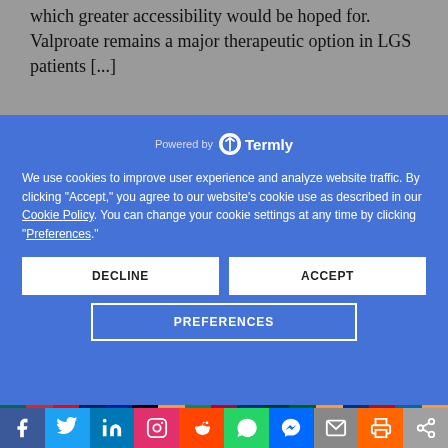which greater accessibility would be hoped for. Valproate remains a major therapeutic option in LGS patients [...]
should be based upon their specific
Powered by Termly
We use cookies to improve user experience and analyze website traffic. By clicking "Accept," you agree to our website's cookie use as described in our Cookie Policy. You can change your cookie settings at any time by clicking "Preferences."
DECLINE
ACCEPT
PREFERENCES
[Figure (other): Row of country flag icons including Bangladesh, China, Taiwan, UK, France, Germany, India, Italy, Japan, South Korea, Pakistan, Portugal, India (variant), Russia, Spain, Sweden, and another flag]
[Figure (other): Social media sharing bar with icons for Facebook, Twitter, LinkedIn, Instagram, Reddit, WhatsApp, Messenger, Email, Print, and Share]